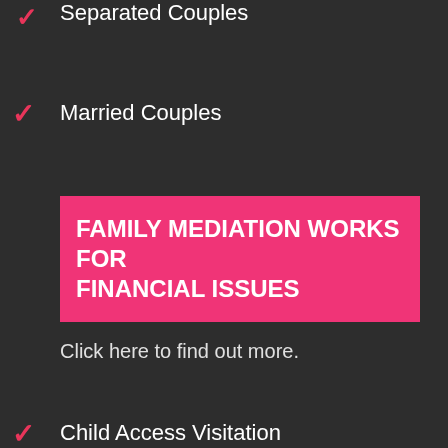Separated Couples
Married Couples
FAMILY MEDIATION WORKS FOR FINANCIAL ISSUES
Click here to find out more.
Child Access Visitation
Child Maintenance
Child Parental Plans